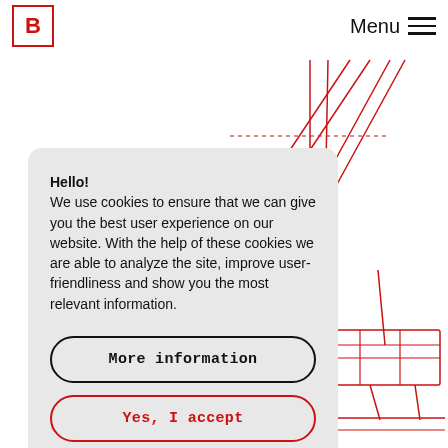[Figure (logo): Red square outline logo with bold letter B inside]
Menu ≡
[Figure (illustration): Red line drawing illustration of a construction crane or lifting equipment in the background]
Hello!
We use cookies to ensure that we can give you the best user experience on our website. With the help of these cookies we are able to analyze the site, improve user-friendliness and show you the most relevant information.
More information
Yes, I accept